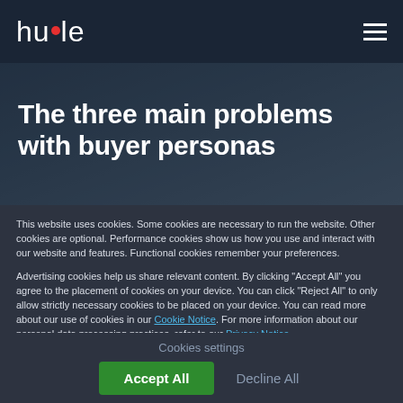huble
[Figure (photo): Dark background photo of a person holding a smartphone, partially visible hands and device]
The three main problems with buyer personas
This website uses cookies. Some cookies are necessary to run the website. Other cookies are optional. Performance cookies show us how you use and interact with our website and features. Functional cookies remember your preferences.
Advertising cookies help us share relevant content. By clicking “Accept All” you agree to the placement of cookies on your device. You can click “Reject All” to only allow strictly necessary cookies to be placed on your device. You can read more about our use of cookies in our Cookie Notice. For more information about our personal data processing practices, refer to our Privacy Notice.
If you decline, your information won’t be tracked when you visit this website. A single cookie will be used in your browser to remember your preference not to be tracked.
Cookies settings
Accept All
Decline All